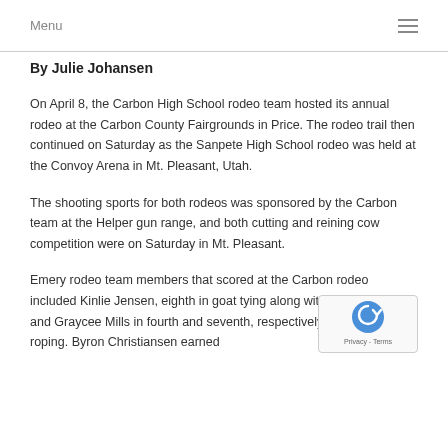Menu
By Julie Johansen
On April 8, the Carbon High School rodeo team hosted its annual rodeo at the Carbon County Fairgrounds in Price. The rodeo trail then continued on Saturday as the Sanpete High School rodeo was held at the Convoy Arena in Mt. Pleasant, Utah.
The shooting sports for both rodeos was sponsored by the Carbon team at the Helper gun range, and both cutting and reining cow competition were on Saturday in Mt. Pleasant.
Emery rodeo team members that scored at the Carbon rodeo included Kinlie Jensen, eighth in goat tying along with Ab McElprang and Graycee Mills in fourth and seventh, respectively, in breakaway roping. Byron Christiansen earned